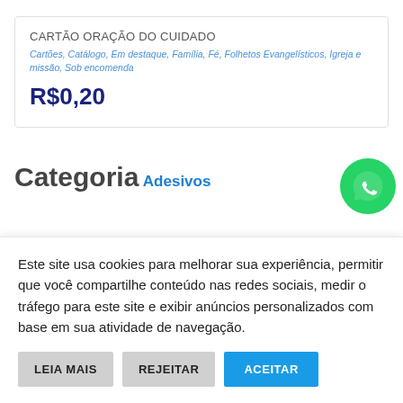CARTÃO ORAÇÃO DO CUIDADO
Cartões, Catálogo, Em destaque, Família, Fé, Folhetos Evangelísticos, Igreja e missão, Sob encomenda
R$0,20
Categoria
Adesivos
Este site usa cookies para melhorar sua experiência, permitir que você compartilhe conteúdo nas redes sociais, medir o tráfego para este site e exibir anúncios personalizados com base em sua atividade de navegação.
LEIA MAIS | REJEITAR | ACEITAR